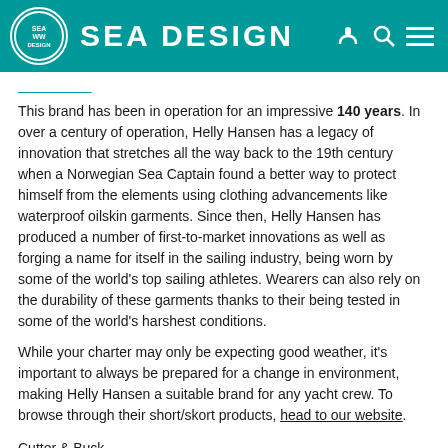SEA DESIGN
This brand has been in operation for an impressive 140 years. In over a century of operation, Helly Hansen has a legacy of innovation that stretches all the way back to the 19th century when a Norwegian Sea Captain found a better way to protect himself from the elements using clothing advancements like waterproof oilskin garments. Since then, Helly Hansen has produced a number of first-to-market innovations as well as forging a name for itself in the sailing industry, being worn by some of the world's top sailing athletes. Wearers can also rely on the durability of these garments thanks to their being tested in some of the world's harshest conditions.
While your charter may only be expecting good weather, it's important to always be prepared for a change in environment, making Helly Hansen a suitable brand for any yacht crew. To browse through their short/skort products, head to our website.
Cutter & Buck
Cutter & Buck is a brand that...